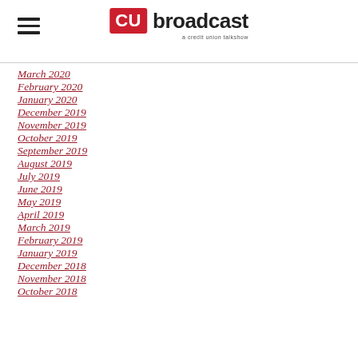CU broadcast — a credit union talkshow
March 2020
February 2020
January 2020
December 2019
November 2019
October 2019
September 2019
August 2019
July 2019
June 2019
May 2019
April 2019
March 2019
February 2019
January 2019
December 2018
November 2018
October 2018